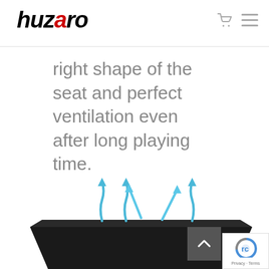huzaro
right shape of the seat and perfect ventilation even after long playing time.
[Figure (illustration): Gaming chair seat shown from below/side angle with blue ventilation airflow arrows (wavy and straight arrows pointing upward) indicating air circulation. Bottom portion of page shows the chair seat in dark color with cyan/blue ventilation arrows.]